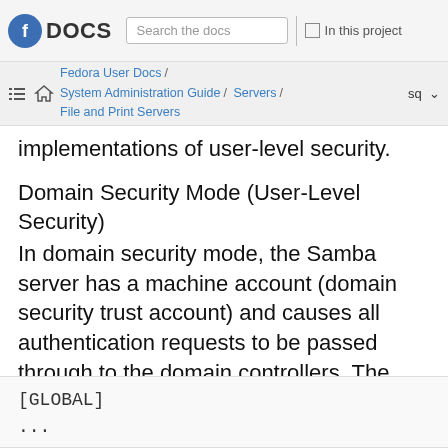DOCS | Search the docs | In this project
Fedora User Docs / System Administration Guide / Servers / File and Print Servers | sq
implementations of user-level security.
Domain Security Mode (User-Level Security)
In domain security mode, the Samba server has a machine account (domain security trust account) and causes all authentication requests to be passed through to the domain controllers. The Samba server is made into a domain member server by using the following directives in the /etc/samba/smb.conf file:
[GLOBAL]
...